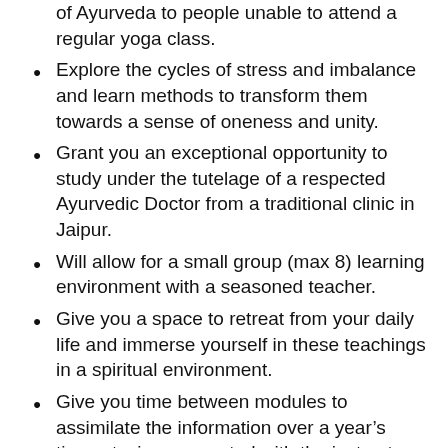of Ayurveda to people unable to attend a regular yoga class.
Explore the cycles of stress and imbalance and learn methods to transform them towards a sense of oneness and unity.
Grant you an exceptional opportunity to study under the tutelage of a respected Ayurvedic Doctor from a traditional clinic in Jaipur.
Will allow for a small group (max 8) learning environment with a seasoned teacher.
Give you a space to retreat from your daily life and immerse yourself in these teachings in a spiritual environment.
Give you time between modules to assimilate the information over a year’s time, staying connected with the instructor and the other students.